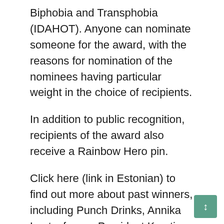Biphobia and Transphobia (IDAHOT). Anyone can nominate someone for the award, with the reasons for nomination of the nominees having particular weight in the choice of recipients.
In addition to public recognition, recipients of the award also receive a Rainbow Hero pin.
Click here (link in Estonian) to find out more about past winners, including Punch Drinks, Annika Laats, former President Kersti Kaljulaid, Heinrich Sepp aka Helgi Saldo and Marina Kaljurand.
The Estonian LGBT Association is a non-profit organization dedicated to LGBT+ people and their relatives whose mission is to influence